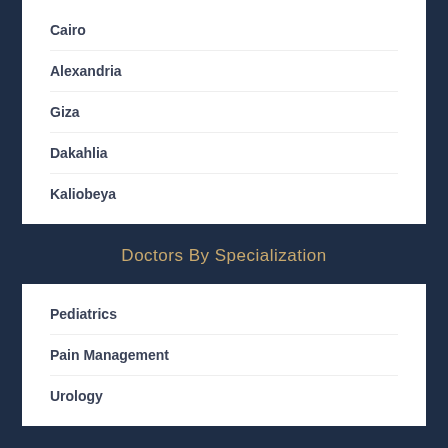Cairo
Alexandria
Giza
Dakahlia
Kaliobeya
Doctors By Specialization
Pediatrics
Pain Management
Urology